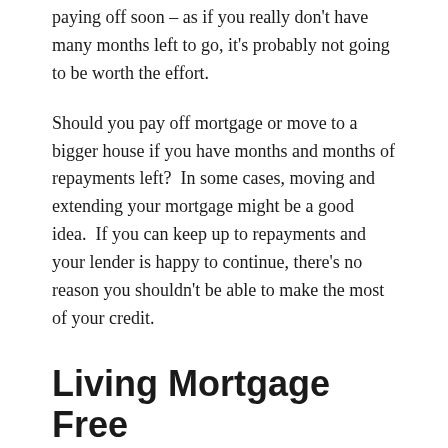paying off soon – as if you really don't have many months left to go, it's probably not going to be worth the effort.
Should you pay off mortgage or move to a bigger house if you have months and months of repayments left?  In some cases, moving and extending your mortgage might be a good idea.  If you can keep up to repayments and your lender is happy to continue, there's no reason you shouldn't be able to make the most of your credit.
Living Mortgage Free
This topic is perhaps a little bit more complex than it might seem at first.  Living mortgage free seems like a dream come true, but in the grand scheme of things, it might not actually be